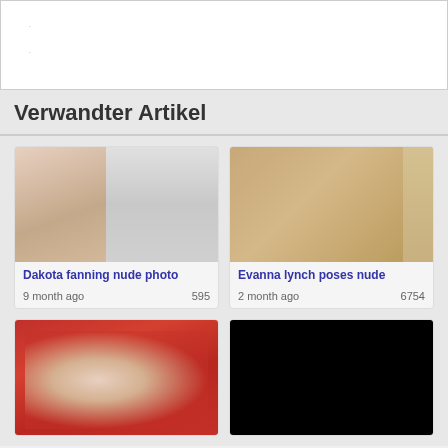·
·
Verwandter Artikel
[Figure (photo): Two female figures, one in color wearing a light camisole, one in black and white wearing a tank top]
Dakota fanning nude photo
9 month ago   595
[Figure (photo): Female figure wearing a golden corset]
Evanna lynch poses nude
2 month ago   6754
[Figure (photo): Female in red floral dress]
[Figure (photo): Black image]